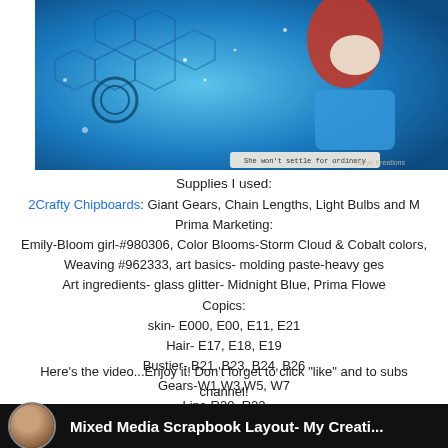[Figure (photo): Mixed media scrapbook layout artwork featuring a girl with red hair on a blue steampunk-themed background with gears, text 'She won't settle for ordinary']
Supplies I used:
2Crafty Chipboards: Giant Gears, Chain Lengths, Light Bulbs and M
Prima Marketing:
Emily-Bloom girl-#980306, Color Blooms-Storm Cloud & Cobalt colors,
Weaving #962333, art basics- molding paste-heavy ges
Art ingredients- glass glitter- Midnight Blue, Prima Flowe
Copics:
skin- E000, E00, E11, E21
Hair- E17, E18, E19
Bustier- B21, B23, B24, B26
Gears-W1,W3,W5, W7
Lips-R20, R22
Eyes-YG13, YG17
Here's the video...Enjoy it! Don't forget to click "like" and to subs
channel!
[Figure (screenshot): YouTube video thumbnail for 'Mixed Media Scrapbook Layout- My Creati...' with avatar of a woman with dark hair]